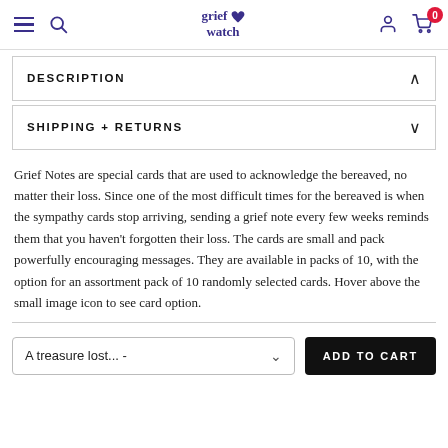grief watch — navigation bar with hamburger menu, search, logo, user account, and cart (0)
DESCRIPTION
SHIPPING + RETURNS
Grief Notes are special cards that are used to acknowledge the bereaved, no matter their loss. Since one of the most difficult times for the bereaved is when the sympathy cards stop arriving, sending a grief note every few weeks reminds them that you haven't forgotten their loss. The cards are small and pack powerfully encouraging messages. They are available in packs of 10, with the option for an assortment pack of 10 randomly selected cards. Hover above the small image icon to see card option.
A treasure lost... -  |  ADD TO CART